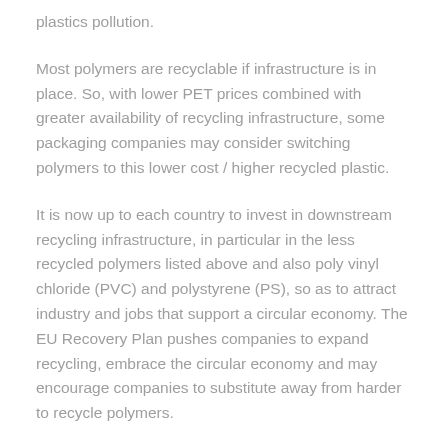plastics pollution.
Most polymers are recyclable if infrastructure is in place. So, with lower PET prices combined with greater availability of recycling infrastructure, some packaging companies may consider switching polymers to this lower cost / higher recycled plastic.
It is now up to each country to invest in downstream recycling infrastructure, in particular in the less recycled polymers listed above and also poly vinyl chloride (PVC) and polystyrene (PS), so as to attract industry and jobs that support a circular economy. The EU Recovery Plan pushes companies to expand recycling, embrace the circular economy and may encourage companies to substitute away from harder to recycle polymers.